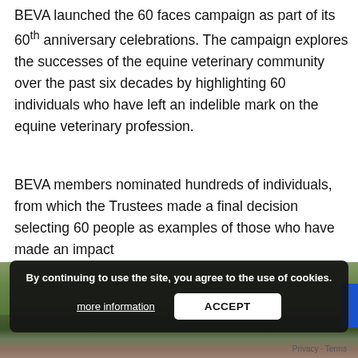BEVA launched the 60 faces campaign as part of its 60th anniversary celebrations. The campaign explores the successes of the equine veterinary community over the past six decades by highlighting 60 individuals who have left an indelible mark on the equine veterinary profession.
BEVA members nominated hundreds of individuals, from which the Trustees made a final decision selecting 60 people as examples of those who have made an impact
[Figure (photo): Outdoor landscape photo showing a green field with fencing and hedgerows; horses visible at the bottom portion of the image]
By continuing to use the site, you agree to the use of cookies.
more information   ACCEPT
Privacy · Terms